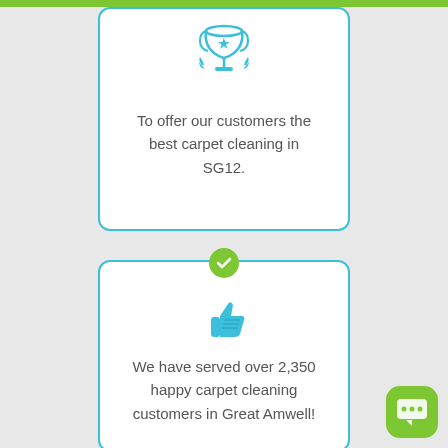[Figure (illustration): Trophy icon in blue at top of first card]
To offer our customers the best carpet cleaning in SG12.
[Figure (illustration): Green circle with white checkmark between the two cards]
[Figure (illustration): Blue thumbs up icon inside second card]
We have served over 2,350 happy carpet cleaning customers in Great Amwell!
[Figure (illustration): Green rounded square chat button in bottom right corner]